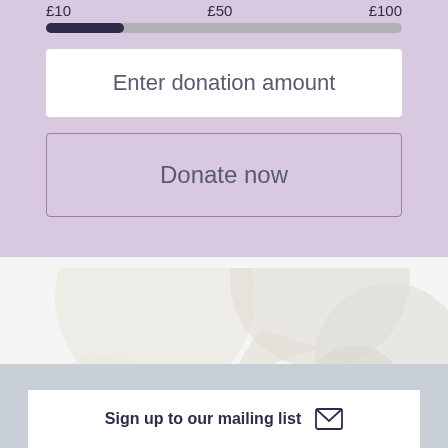[Figure (screenshot): Donation slider showing £10, £50, £100 with a filled track at approximately £10 position]
Enter donation amount
Donate now
[Figure (illustration): Decorative overlapping circles/speech bubble shapes in light beige/cream tones on light background]
Sign up to our mailing list